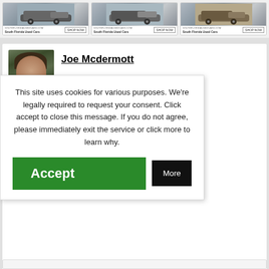[Figure (photo): Three car advertisement banners for southfloridausedcars.com, each showing a car image with a 'SHOP NOW' button and 'South Florida Used Cars' branding]
[Figure (photo): Author headshot of Joe Mcdermott, showing a person with dark hair against a green background]
Joe Mcdermott
stigative keeps his eyes and World News eporter®. thus veteran for select rganizations in
Flipboard
This site uses cookies for various purposes. We're legally required to request your consent. Click accept to close this message. If you do not agree, please immediately exit the service or click more to learn why.
Accept
More